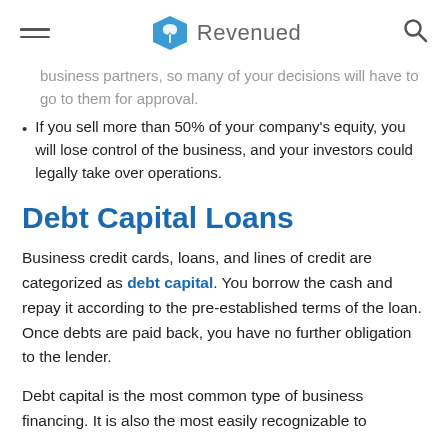Revenued
business partners, so many of your decisions will have to go to them for approval.
If you sell more than 50% of your company's equity, you will lose control of the business, and your investors could legally take over operations.
Debt Capital Loans
Business credit cards, loans, and lines of credit are categorized as debt capital. You borrow the cash and repay it according to the pre-established terms of the loan. Once debts are paid back, you have no further obligation to the lender.
Debt capital is the most common type of business financing. It is also the most easily recognizable to